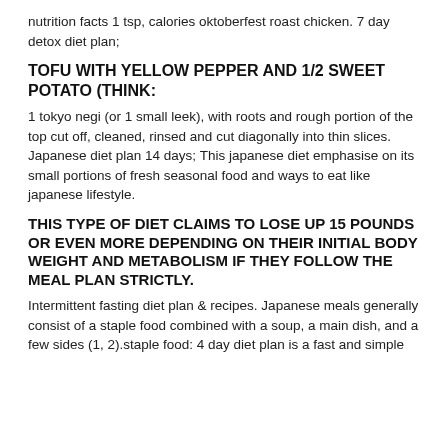nutrition facts 1 tsp, calories oktoberfest roast chicken. 7 day detox diet plan;
TOFU WITH YELLOW PEPPER AND 1/2 SWEET POTATO (THINK:
1 tokyo negi (or 1 small leek), with roots and rough portion of the top cut off, cleaned, rinsed and cut diagonally into thin slices. Japanese diet plan 14 days; This japanese diet emphasise on its small portions of fresh seasonal food and ways to eat like japanese lifestyle.
THIS TYPE OF DIET CLAIMS TO LOSE UP 15 POUNDS OR EVEN MORE DEPENDING ON THEIR INITIAL BODY WEIGHT AND METABOLISM IF THEY FOLLOW THE MEAL PLAN STRICTLY.
Intermittent fasting diet plan & recipes. Japanese meals generally consist of a staple food combined with a soup, a main dish, and a few sides (1, 2).staple food: 4 day diet plan is a fast and simple